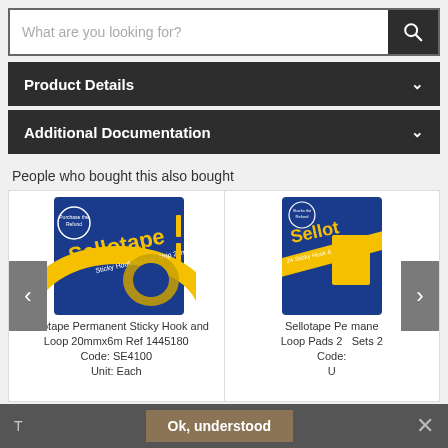[Figure (screenshot): Search bar with placeholder text 'What are you looking for?' and a dark search button with magnifying glass icon]
Product Details
Additional Documentation
People who bought this also bought
[Figure (photo): Sellotape Permanent Sticky Hook and Loop 20mmx6m Ref 1445180 product in blue and yellow packaging]
Sellotape Permanent Sticky Hook and Loop 20mmx6m Ref 1445180
Code: SE4100
Unit: Each
[Figure (photo): Sellotape Permanent Sticky Hook and Loop Pads 24 Sets product in blue and yellow packaging (partially visible)]
Sellotape Permanent Sticky Hook and Loop Pads 24 Sets 2
Code:
U
Ok, understood